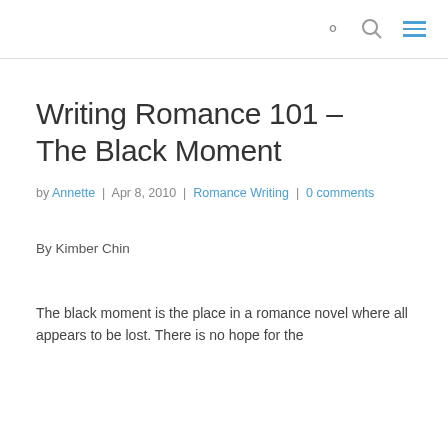🔍 ≡
Writing Romance 101 – The Black Moment
by Annette | Apr 8, 2010 | Romance Writing | 0 comments
By Kimber Chin
The black moment is the place in a romance novel where all appears to be lost. There is no hope for the